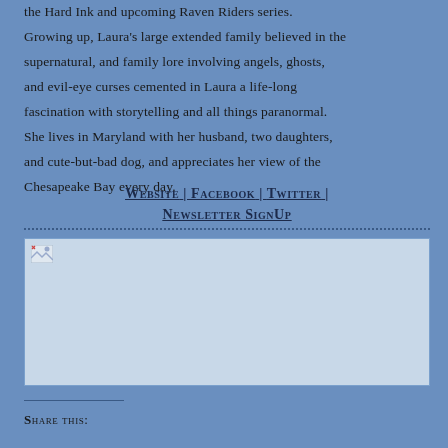the Hard Ink and upcoming Raven Riders series. Growing up, Laura's large extended family believed in the supernatural, and family lore involving angels, ghosts, and evil-eye curses cemented in Laura a life-long fascination with storytelling and all things paranormal. She lives in Maryland with her husband, two daughters, and cute-but-bad dog, and appreciates her view of the Chesapeake Bay every day.
WEBSITE | FACEBOOK | TWITTER | NEWSLETTER SIGNUP
[Figure (photo): An image placeholder with a small broken image icon in the top-left corner, set inside a bordered rectangle on a blue background]
Share this: